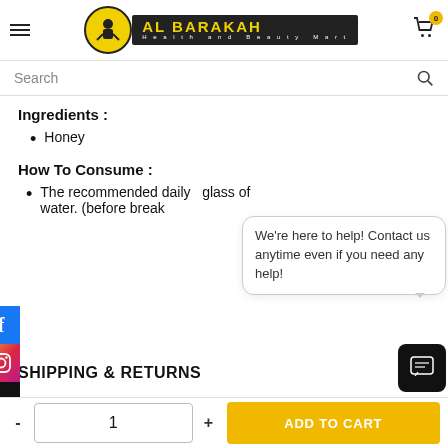[Figure (logo): Al Barakah Health and Beauty Mart logo with yellow circle containing silhouette figure, dark background text block with brand name in yellow letters and tagline in white]
[Figure (screenshot): Search bar with magnifying glass icon]
Ingredients :
Honey
How To Consume :
The recommended daily glass of water. (before break
We're here to help! Contact us anytime even if you need any help!
[Figure (logo): Facebook icon]
[Figure (logo): Instagram icon]
[Figure (logo): TikTok icon]
SHIPPING & RETURNS
ADD TO CART